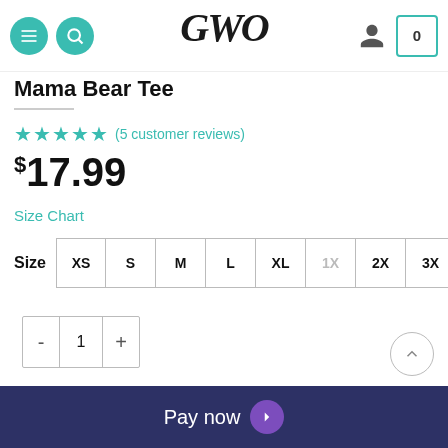GWO — navigation header with menu, search, logo, account, cart (0)
Mama Bear Tee
(5 customer reviews) — rated 5 stars
$17.99
Size Chart
Size: XS S M L XL 1X 2X 3X
Quantity: - 1 +
Pay now